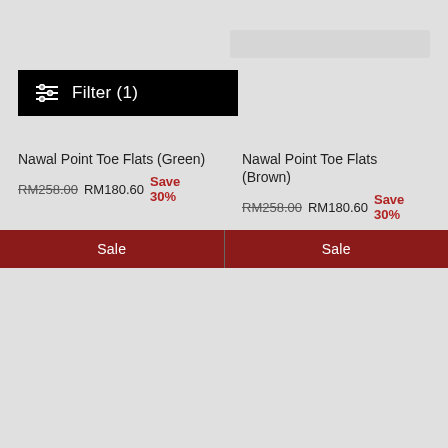[Figure (screenshot): Filter button with sliders icon on black background showing Filter (1)]
Nawal Point Toe Flats (Green)
RM258.00  RM180.60  Save 30%
Nawal Point Toe Flats (Brown)
RM258.00  RM180.60  Save 30%
Sale
Sale